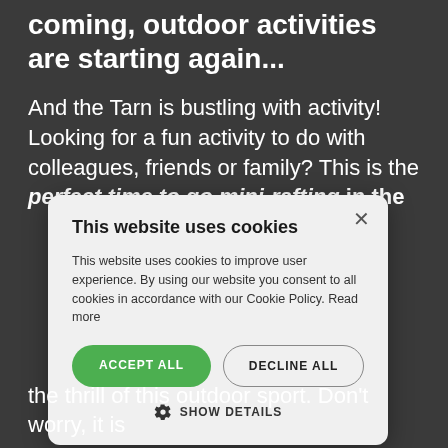coming, outdoor activities are starting again...
And the Tarn is bustling with activity! Looking for a fun activity to do with colleagues, friends or family? This is the perfect time to go mini-rafting in the [partially obscured] ng this [partially obscured] eliest, that [partially obscured] ril to mid [partially obscured] t, enjoy [partially obscured] s
[Figure (screenshot): Cookie consent modal dialog with title 'This website uses cookies', body text explaining cookie usage policy, 'ACCEPT ALL' green button, 'DECLINE ALL' outlined button, and 'SHOW DETAILS' link with gear icon. An X close button is in the top right.]
the thrill of this outdoor sport. Don't worry, it is [partially obscured] the Tarn with [partially obscured]